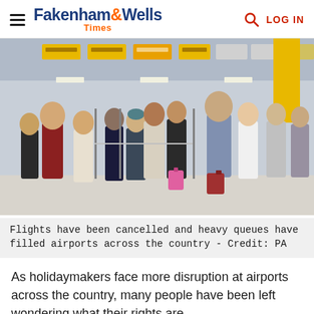Fakenham & Wells Times
[Figure (photo): Crowded airport terminal with passengers queuing at check-in desks, carrying luggage including a pink suitcase and red suitcase. Yellow signs visible overhead.]
Flights have been cancelled and heavy queues have filled airports across the country - Credit: PA
As holidaymakers face more disruption at airports across the country, many people have been left wondering what their rights are.
On Wednesday (June 1), more than 150 UK flights were cancelled and passengers who could travel were forced